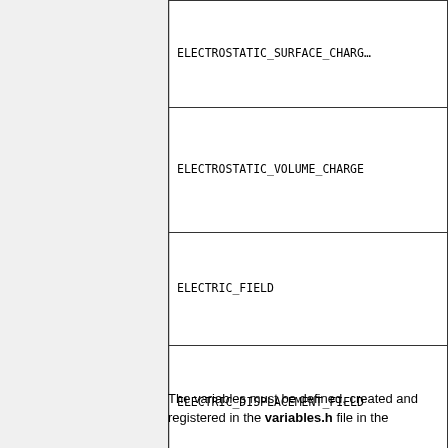| ELECTROSTATIC_SURFACE_CHARG... |
| ELECTROSTATIC_VOLUME_CHARGE |
| ELECTRIC_FIELD |
| ELECTRIC_DISPLACEMENT_FIELD |
| INFINIT_COEFFICIENT |
The variables must be defined, created and registered in the variables.h file in the ...